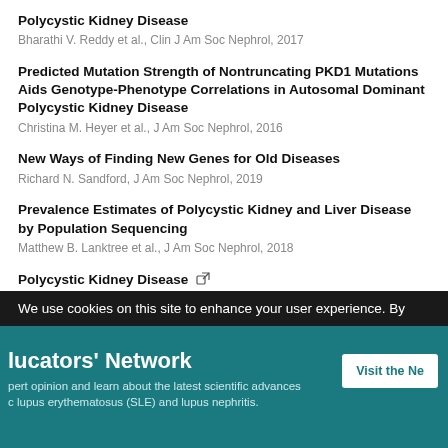Polycystic Kidney Disease
Predicted Mutation Strength of Nontruncating PKD1 Mutations Aids Genotype-Phenotype Correlations in Autosomal Dominant Polycystic Kidney Disease
New Ways of Finding New Genes for Old Diseases
Prevalence Estimates of Polycystic Kidney and Liver Disease by Population Sequencing
Polycystic Kidney Disease
Incidence and management of CAR-T neurotoxicity in patients with multiple myeloma treated with ciltacabtagene autoleucel in CARTITUDE
We use cookies on this site to enhance your user experience. By
lucators' Network
pert opinion and learn about the latest scientific advances c lupus erythematosus (SLE) and lupus nephritis.
Visit the Ne